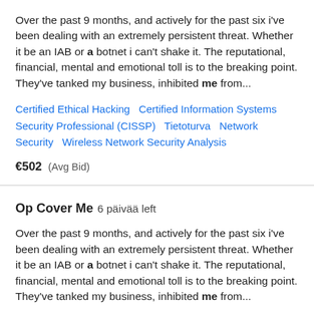Over the past 9 months, and actively for the past six i've been dealing with an extremely persistent threat. Whether it be an IAB or a botnet i can't shake it. The reputational, financial, mental and emotional toll is to the breaking point. They've tanked my business, inhibited me from...
Certified Ethical Hacking   Certified Information Systems Security Professional (CISSP)   Tietoturva   Network Security   Wireless Network Security Analysis
€502  (Avg Bid)
Op Cover Me  6 päivää left
Over the past 9 months, and actively for the past six i've been dealing with an extremely persistent threat. Whether it be an IAB or a botnet i can't shake it. The reputational, financial, mental and emotional toll is to the breaking point. They've tanked my business, inhibited me from...
Certified Ethical Hacking   Certified Information Systems Security Professional (CISSP)   Tietoturva   Network Security